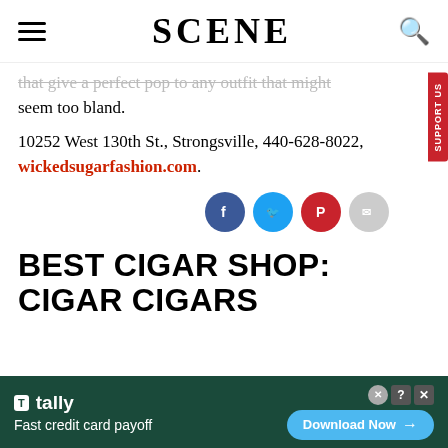SCENE
that give a perfect pop to any outfit that might seem too bland.
10252 West 130th St., Strongsville, 440-628-8022, wickedsugarfashion.com.
[Figure (infographic): Social media sharing icons: Facebook (dark blue), Twitter (light blue), Pinterest (red), Email (grey). Support US vertical tab on right side.]
BEST CIGAR SHOP: CIGAR CIGARS
[Figure (infographic): Advertisement banner for Tally app: dark green background, Tally logo, text 'Fast credit card payoff', Download Now button in blue.]